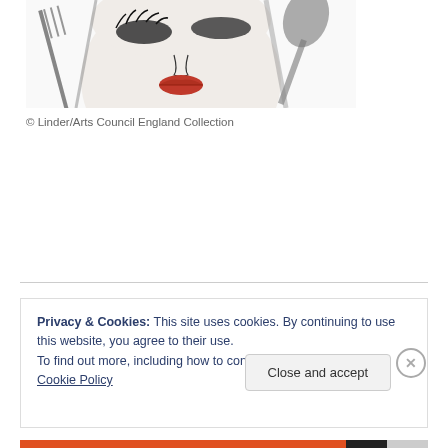[Figure (illustration): Partial view of a black-and-white photomontage artwork showing a woman's face with red lips, fork and spoon overlaid on the image]
© Linder/Arts Council England Collection
Privacy & Cookies: This site uses cookies. By continuing to use this website, you agree to their use.
To find out more, including how to control cookies, see here: Cookie Policy
Close and accept